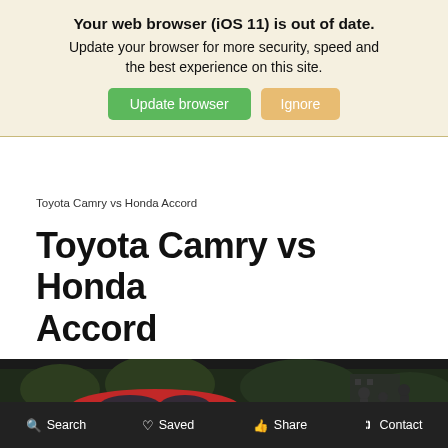Your web browser (iOS 11) is out of date. Update your browser for more security, speed and the best experience on this site.
[Figure (screenshot): Browser warning banner with two buttons: 'Update browser' (green) and 'Ignore' (tan/orange)]
Toyota Camry vs Honda Accord
Toyota Camry vs Honda Accord
[Figure (photo): Photo of a red Toyota Camry car parked in an urban setting with people and greenery in the background]
Search  Saved  Share  Contact